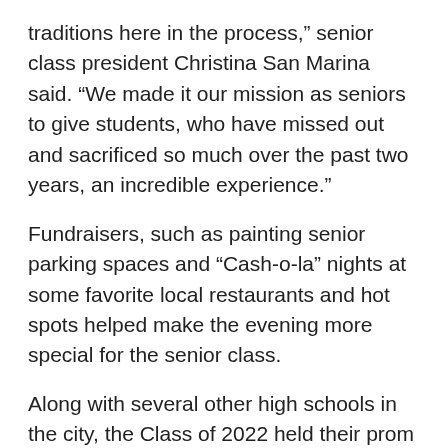traditions here in the process," senior class president Christina San Marina said. "We made it our mission as seniors to give students, who have missed out and sacrificed so much over the past two years, an incredible experience."
Fundraisers, such as painting senior parking spaces and "Cash-o-la" nights at some favorite local restaurants and hot spots helped make the evening more special for the senior class.
Along with several other high schools in the city, the Class of 2022 held their prom at the Virginia Beach Aquarium & Marine Science Center on General Booth Boulevard, which would seemingly be an unconventional venue to hold such an event. However, the Falcon Class of 2022 made it work, 'under the sea' and "posted up" on Saturday, June 11, just a week before graduation.